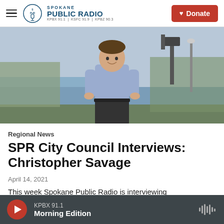Spokane Public Radio — KPBX 91.1 | KSFC 91.9 | KPBZ 90.3 — Donate
[Figure (photo): Man in light blue shirt standing outdoors near a river with bare trees and camera equipment in background]
Regional News
SPR City Council Interviews: Christopher Savage
April 14, 2021
This week Spokane Public Radio is interviewing
KPBX 91.1 — Morning Edition